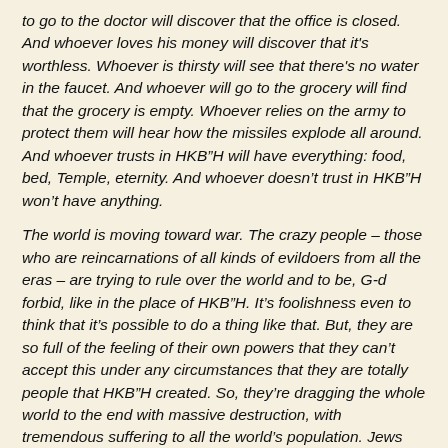to go to the doctor will discover that the office is closed. And whoever loves his money will discover that it's worthless. Whoever is thirsty will see that there's no water in the faucet. And whoever will go to the grocery will find that the grocery is empty. Whoever relies on the army to protect them will hear how the missiles explode all around. And whoever trusts in HKB"H will have everything: food, bed, Temple, eternity. And whoever doesn't trust in HKB"H won't have anything.
The world is moving toward war. The crazy people – those who are reincarnations of all kinds of evildoers from all the eras – are trying to rule over the world and to be, G-d forbid, like in the place of HKB"H. It's foolishness even to think that it's possible to do a thing like that. But, they are so full of the feeling of their own powers that they can't accept this under any circumstances that they are totally people that HKB"H created. So, they're dragging the whole world to the end with massive destruction, with tremendous suffering to all the world's population. Jews and gentiles with a bit of comprehension feel clearly that there's going to be a disastor in the world, in the economy as well as in the war.